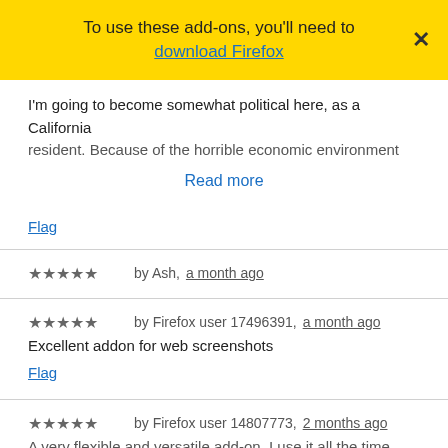To use these add-ons, you'll need to download Firefox
I'm going to become somewhat political here, as a California resident. Because of the horrible economic environment
Read more
Flag
★★★★★ by Ash, a month ago
★★★★★ by Firefox user 17496391, a month ago
Excellent addon for web screenshots
Flag
★★★★★ by Firefox user 14807773, 2 months ago
A very flexible and versatile add-on. I use it all the time